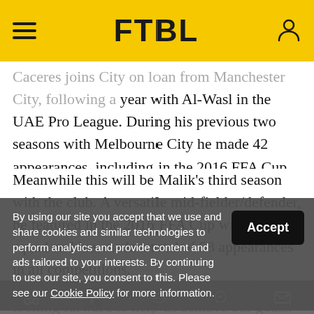FTBL
Caceres joins City on loan from Manchester City, following a year with Al-Wasl in the UAE Pro League. During his previous two seasons with Melbourne City he made 42 appearances, including in the 2016 FFA Cup winning squad, scoring four goals in all competitions.
Meanwhile this will be Malik's third season with the club. A versatile mid-fielder/defender, he featured in the 2016 FFA Cup winning squad and has made a total of 58 appearances in all competitions.
Melbourne City is a club that we are all looking forward to help us achieve our goals.
By using our site you accept that we use and share cookies and similar technologies to perform analytics and provide content and ads tailored to your interests. By continuing to use our site, you consent to this. Please see our Cookie Policy for more information.